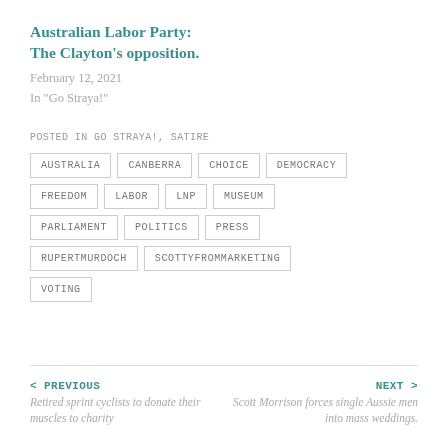Australian Labor Party: The Clayton's opposition.
February 12, 2021
In "Go Straya!"
POSTED IN GO STRAYA!, SATIRE
AUSTRALIA
CANBERRA
CHOICE
DEMOCRACY
FREEDOM
LABOR
LNP
MUSEUM
PARLIAMENT
POLITICS
PRESS
RUPERTMURDOCH
SCOTTYFROMMARKETING
VOTING
< PREVIOUS
Retired sprint cyclists to donate their muscles to charity
NEXT >
Scott Morrison forces single Aussie men into mass weddings.